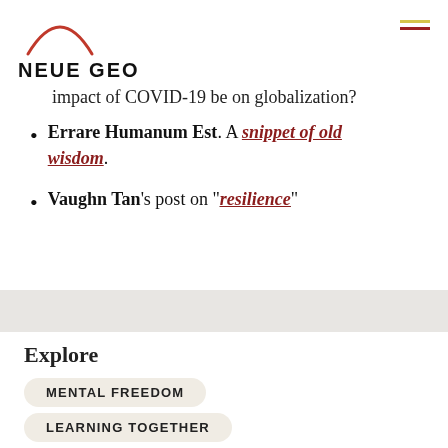NEUE GEO
impact of COVID-19 be on globalization?
Errare Humanum Est. A snippet of old wisdom.
Vaughn Tan's post on "resilience"
Explore
MENTAL FREEDOM
LEARNING TOGETHER
PARADIGM SHIFTS